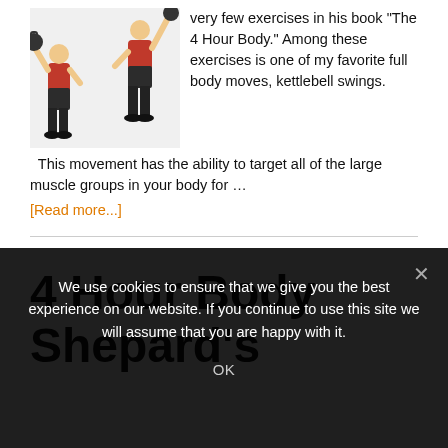[Figure (photo): Two people performing kettlebell swings, side by side, wearing red shirts and dark shorts]
very few exercises in his book "The 4 Hour Body." Among these exercises is one of my favorite full body moves, kettlebell swings.  This movement has the ability to target all of the large muscle groups in your body for …
[Read more...]
4 Hour Body Shepard's
We use cookies to ensure that we give you the best experience on our website. If you continue to use this site we will assume that you are happy with it.
OK